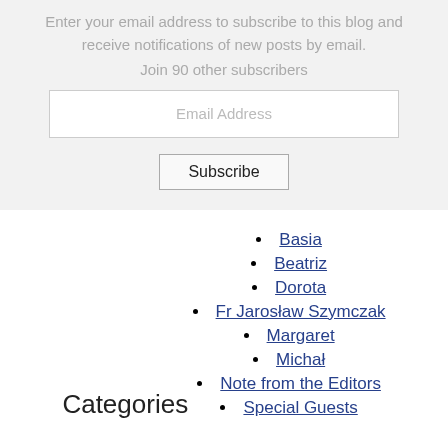Enter your email address to subscribe to this blog and receive notifications of new posts by email.
Join 90 other subscribers
Categories
Basia
Beatriz
Dorota
Fr Jarosław Szymczak
Margaret
Michał
Note from the Editors
Special Guests